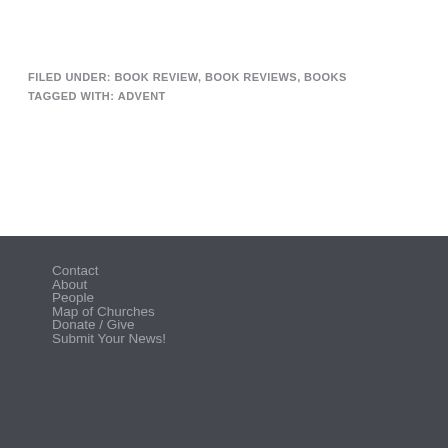FILED UNDER: BOOK REVIEW, BOOK REVIEWS, BOOKS
TAGGED WITH: ADVENT
Contact
About
People
Map of Churches
Donate / Give
Submit Your News!